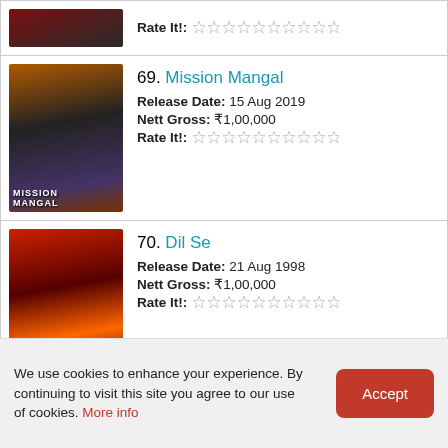Rate It!: (stars)
69. Mission Mangal | Release Date: 15 Aug 2019 | Nett Gross: ₹1,00,000 | Rate It!: (stars)
70. Dil Se | Release Date: 21 Aug 1998 | Nett Gross: ₹1,00,000 | Rate It!: (stars)
71. Iqbal | Release Date: 26 Aug 2005 | Nett Gross: ₹1,00,000 | Rate It!: (stars)
We use cookies to enhance your experience. By continuing to visit this site you agree to our use of cookies. More info